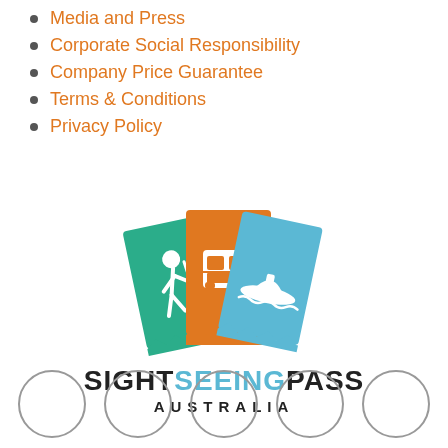Media and Press
Corporate Social Responsibility
Company Price Guarantee
Terms & Conditions
Privacy Policy
[Figure (logo): Sightseeing Pass Australia logo with three overlapping tickets (green with hiker, orange with bus, blue with boat) above the text SIGHTSEEINGPASS AUSTRALIA]
[Figure (other): Five empty circles in a row, resembling social media or rating icons]